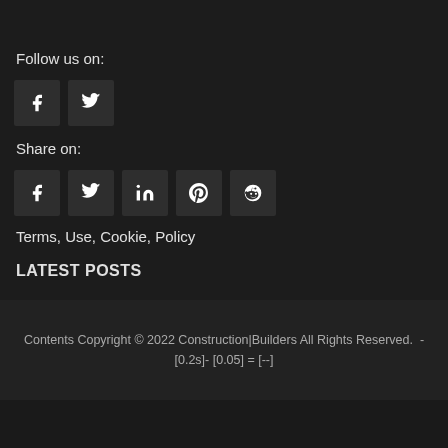Follow us on:
[Figure (other): Social follow icons: Facebook and Twitter]
Share on:
[Figure (other): Social share icons: Facebook, Twitter, LinkedIn, Pinterest, Reddit]
Terms, Use, Cookie, Policy
LATEST POSTS
Contents Copyright © 2022 Construction|Builders All Rights Reserved.  -[0.2s]- [0.05] = [--]